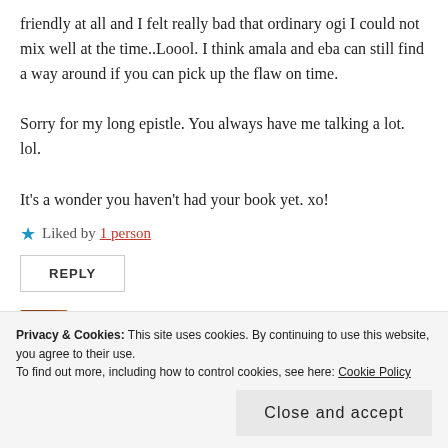friendly at all and I felt really bad that ordinary ogi I could not mix well at the time..Loool. I think amala and eba can still find a way around if you can pick up the flaw on time.
Sorry for my long epistle. You always have me talking a lot. lol.
It's a wonder you haven't had your book yet. xo!
★ Liked by 1 person
REPLY
[Figure (photo): Small avatar/thumbnail image of a person or object, brown tones]
Privacy & Cookies: This site uses cookies. By continuing to use this website, you agree to their use.
To find out more, including how to control cookies, see here: Cookie Policy
Close and accept